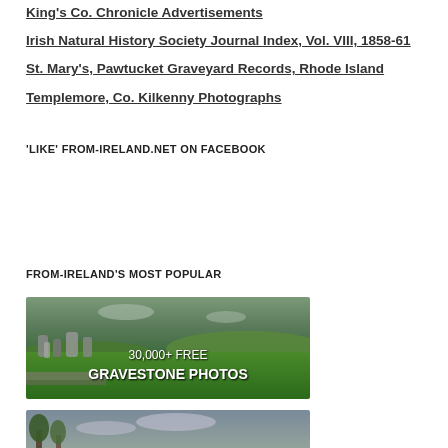King's Co. Chronicle Advertisements
Irish Natural History Society Journal Index, Vol. VIII, 1858-61
St. Mary's, Pawtucket Graveyard Records, Rhode Island
Templemore, Co. Kilkenny Photographs
'LIKE' FROM-IRELAND.NET ON FACEBOOK
FROM-IRELAND'S MOST POPULAR
[Figure (photo): Graveyard with gravestones and green fields, banner reading '30,000+ FREE GRAVESTONE PHOTOS']
[Figure (photo): Countryside scene with trees and cloudy sky, partially visible at bottom of page]